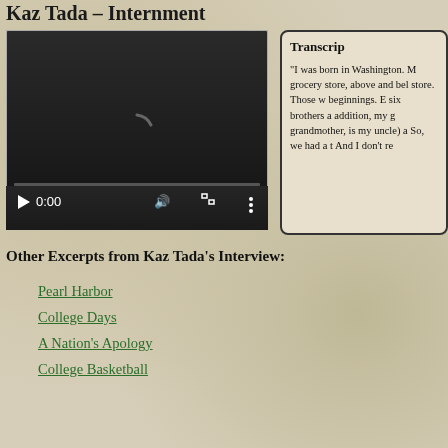Kaz Tada – Internment
[Figure (screenshot): Embedded video player with dark background, loading spinner, playback controls showing play button, 0:00 timestamp, volume, fullscreen, and more options icons, with a progress bar.]
Transcript

"I was born in Washington. My grocery store, above and below store. Those we beginnings. E six brothers a addition, my g grandmother, is my uncle) a So, we had a t And I don't re
Other Excerpts from Kaz Tada's Interview:
Pearl Harbor
College Days
A Nation's Apology
College Basketball